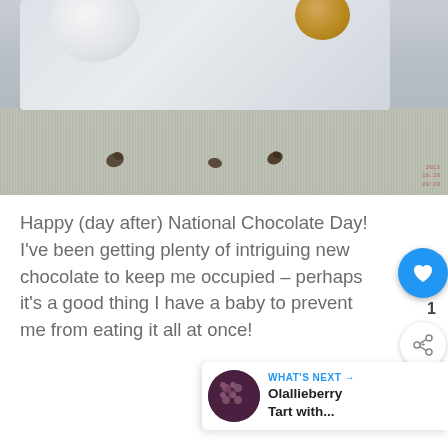[Figure (photo): Close-up photo of a white rectangular plate with a white ramekin and gold bowl, sitting on a striped bamboo mat with scattered small chocolate pieces. A red watermark stamp is visible in the bottom right corner.]
Happy (day after) National Chocolate Day! I've been getting plenty of intriguing new chocolate to keep me occupied – perhaps it's a good thing I have a baby to prevent me from eating it all at once!